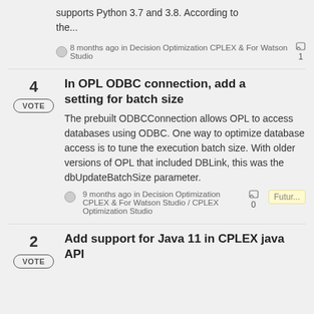supports Python 3.7 and 3.8. According to the...
8 months ago in Decision Optimization CPLEX & For Watson Studio  1
In OPL ODBC connection, add a setting for batch size
The prebuilt ODBCConnection allows OPL to access databases using ODBC. One way to optimize database access is to tune the execution batch size. With older versions of OPL that included DBLink, this was the dbUpdateBatchSize parameter.
9 months ago in Decision Optimization CPLEX & For Watson Studio / CPLEX Optimization Studio  0  Futur...
Add support for Java 11 in CPLEX java API